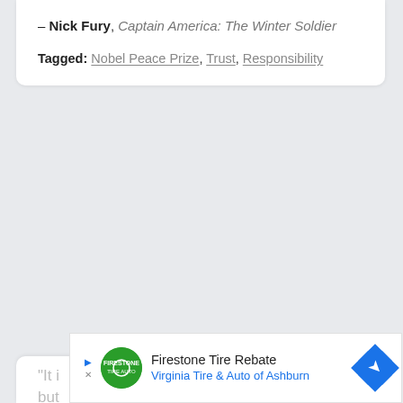— Nick Fury, Captain America: The Winter Soldier
Tagged: Nobel Peace Prize, Trust, Responsibility
"It [partial, cut off] but [partial, cut off]
[Figure (other): Advertisement banner for Firestone Tire Rebate at Virginia Tire & Auto of Ashburn, with green circular logo, play/close buttons, text content, and blue diamond arrow icon]